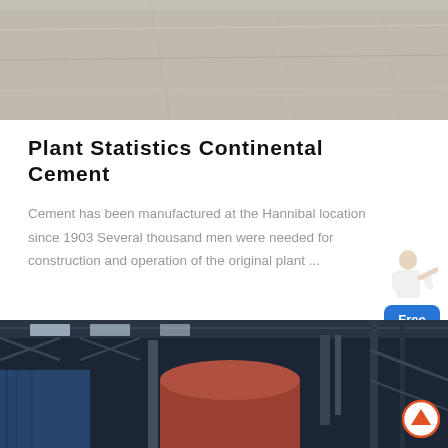[Figure (photo): Top portion of a concrete or stone surface, grey texture, partially cropped at top of page]
Plant Statistics Continental Cement
Cement has been manufactured at the Hannibal location since 1903 Several thousand men were needed for construction and operation of the original plant ...
[Figure (illustration): Chat widget with a person (customer service representative) pointing and a blue button labeled 'Free chat']
[Figure (photo): Industrial factory interior showing large cement kiln or industrial equipment, metal structure, blue tarpaulin in background, partial bottom of page]